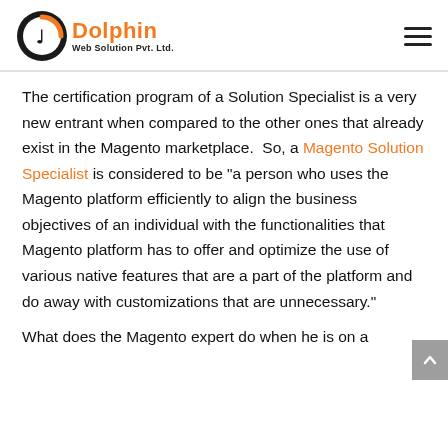Dolphin Web Solution Pvt. Ltd.
The certification program of a Solution Specialist is a very new entrant when compared to the other ones that already exist in the Magento marketplace. So, a Magento Solution Specialist is considered to be "a person who uses the Magento platform efficiently to align the business objectives of an individual with the functionalities that Magento platform has to offer and optimize the use of various native features that are a part of the platform and do away with customizations that are unnecessary."
What does the Magento expert do when he is on a